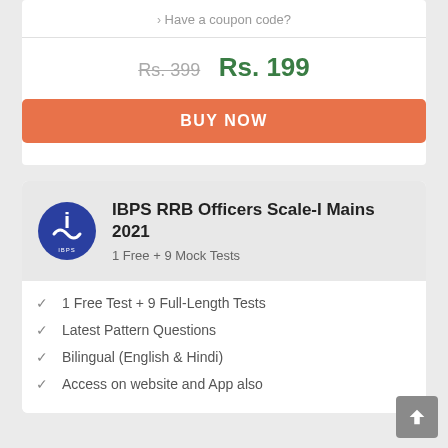> Have a coupon code?
Rs. 399  Rs. 199
BUY NOW
IBPS RRB Officers Scale-I Mains 2021
1 Free + 9 Mock Tests
1 Free Test + 9 Full-Length Tests
Latest Pattern Questions
Bilingual (English & Hindi)
Access on website and App also